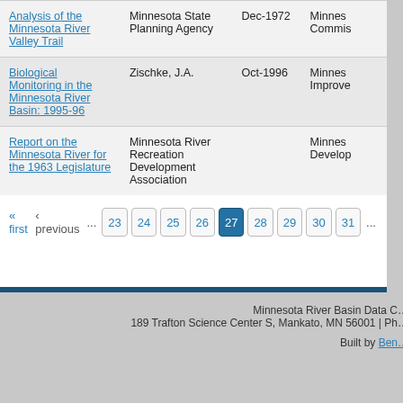| Title | Author | Date | Publisher |
| --- | --- | --- | --- |
| Analysis of the Minnesota River Valley Trail | Minnesota State Planning Agency | Dec-1972 | Minnes… Commis… |
| Biological Monitoring in the Minnesota River Basin: 1995-96 | Zischke, J.A. | Oct-1996 | Minnes… Improve… |
| Report on the Minnesota River for the 1963 Legislature | Minnesota River Recreation Development Association |  | Minnes… Develop… |
« first  ‹ previous  ...  23  24  25  26  27  28  29  30  31  ...
Minnesota River Basin Data C… 189 Trafton Science Center S, Mankato, MN 56001 | Ph… Built by Ben…